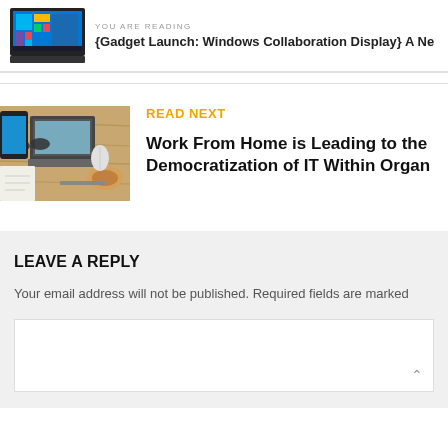YOU ARE READING
{Gadget Launch: Windows Collaboration Display} A Ne
READ NEXT
Work From Home is Leading to the Democratization of IT Within Organ
LEAVE A REPLY
Your email address will not be published. Required fields are marked